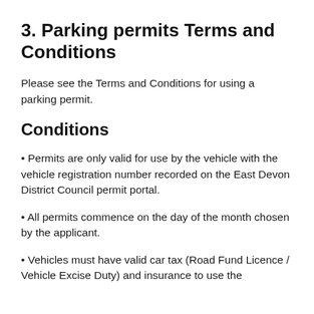3. Parking permits Terms and Conditions
Please see the Terms and Conditions for using a parking permit.
Conditions
Permits are only valid for use by the vehicle with the vehicle registration number recorded on the East Devon District Council permit portal.
All permits commence on the day of the month chosen by the applicant.
Vehicles must have valid car tax (Road Fund Licence / Vehicle Excise Duty) and insurance to use the